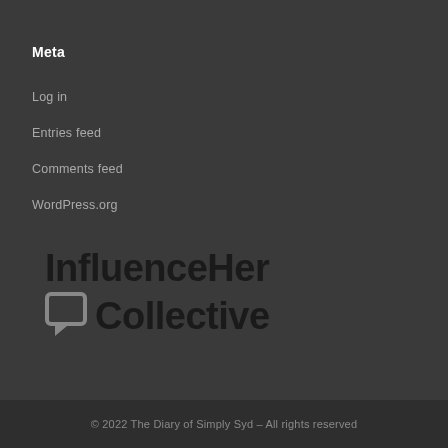Meta
Log in
Entries feed
Comments feed
WordPress.org
[Figure (logo): InfluenceHer Collective logo with speech bubble icon]
© 2022 The Diary of Simply Syd  –  All rights reserved